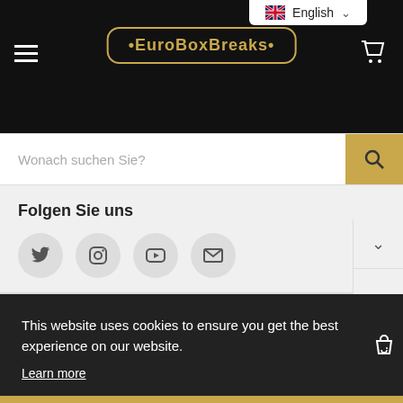[Figure (screenshot): EuroBoxBreaks website header with black background, gold logo, English language selector, hamburger menu, and shopping cart icon]
Wonach suchen Sie?
Folgen Sie uns
[Figure (infographic): Social media icons: Twitter, Instagram, YouTube, Email]
This website uses cookies to ensure you get the best experience on our website.
Learn more
Got it!